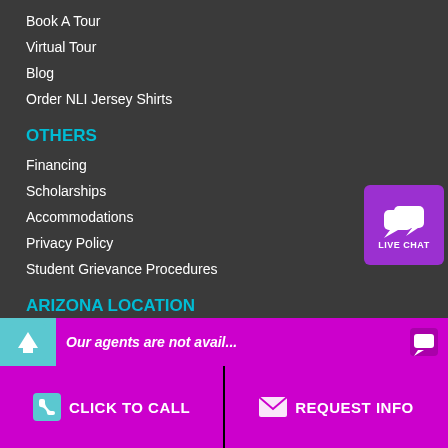Book A Tour
Virtual Tour
Blog
Order NLI Jersey Shirts
OTHERS
Financing
Scholarships
Accommodations
Privacy Policy
Student Grievance Procedures
[Figure (other): Purple live chat button with speech bubble icons and LIVE CHAT label]
ARIZONA LOCATION
16601 N. 90th St.
Scottsdale, AZ 85260
View map
480.290.7333
www.nlimedspa.com
Click for spa specials!
[Figure (other): Teal scroll-to-top button with upward arrow]
TEXAS LOCATION
Dallas, TX 75220
[Figure (other): Magenta chat notification bar: Our agents are not avail... with chat icon]
[Figure (other): Magenta CTA bar with CLICK TO CALL and REQUEST INFO buttons]